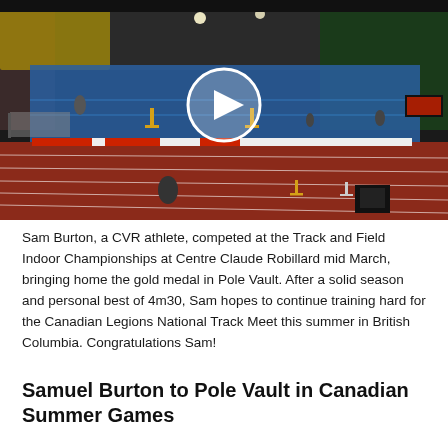[Figure (photo): Indoor track and field facility with a red running track in the foreground, blue field area with hurdles and athletes, yellow stadium seating visible in the background, and a video play button overlay in the center of the image.]
Sam Burton, a CVR athlete, competed at the Track and Field Indoor Championships at Centre Claude Robillard mid March, bringing home the gold medal in Pole Vault. After a solid season and personal best of 4m30, Sam hopes to continue training hard for the Canadian Legions National Track Meet this summer in British Columbia. Congratulations Sam!
Samuel Burton to Pole Vault in Canadian Summer Games